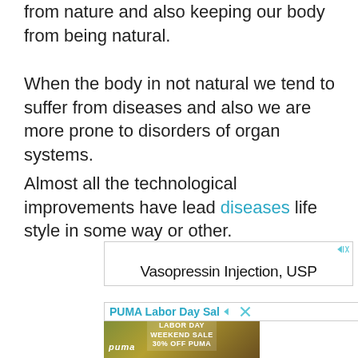from nature and also keeping our body from being natural.
When the body in not natural we tend to suffer from diseases and also we are more prone to disorders of organ systems.
Almost all the technological improvements have lead diseases life style in some way or other.
[Figure (screenshot): Advertisement banner for Vasopressin Injection, USP with close button icons]
[Figure (screenshot): PUMA Labor Day Sale advertisement banner with partial text]
[Figure (photo): PUMA Labor Day Weekend Sale 30% Off PUMA advertisement image with two people outdoors]
Ad